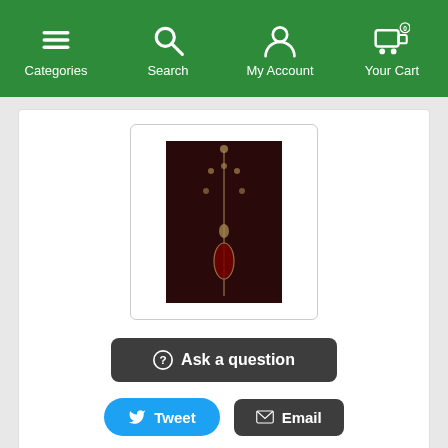Categories | Search | My Account | Your Cart
[Figure (photo): Product thumbnail image of a necklace/jewelry item on dark background, displayed inside a white bordered box]
Ask a question
Tweet
Email
Extra 10% Off From desiVastra.com
Extra Coupon Saving